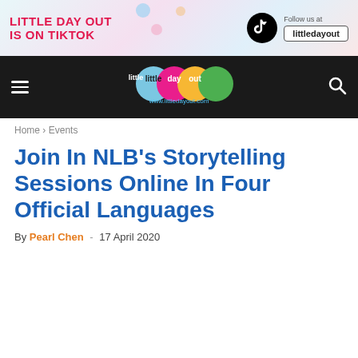[Figure (infographic): Little Day Out is on TikTok banner advertisement with TikTok logo and 'Follow us at littledayout' button]
[Figure (logo): Little Day Out website logo with colorful circles and www.littledayout.com URL on dark navigation bar]
Home › Events
Join In NLB's Storytelling Sessions Online In Four Official Languages
By Pearl Chen - 17 April 2020